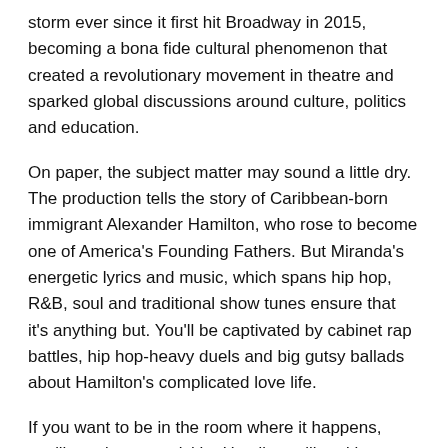storm ever since it first hit Broadway in 2015, becoming a bona fide cultural phenomenon that created a revolutionary movement in theatre and sparked global discussions around culture, politics and education.
On paper, the subject matter may sound a little dry. The production tells the story of Caribbean-born immigrant Alexander Hamilton, who rose to become one of America's Founding Fathers. But Miranda's energetic lyrics and music, which spans hip hop, R&B, soul and traditional show tunes ensure that it's anything but. You'll be captivated by cabinet rap battles, hip hop-heavy duels and big gutsy ballads about Hamilton's complicated love life.
If you want to be in the room where it happens, you'll need to act quickly: Hamilton will end its Sydney run on February 27, 2022. A number of additional holiday performances have recently been added to the bill, so whether you want to treat